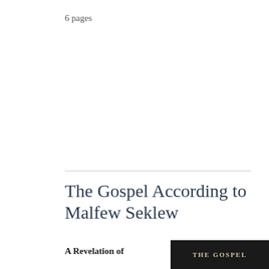6 pages
The Gospel According to Malfew Seklew
A Revelation of
[Figure (photo): Dark book cover showing the text 'THE GOSPEL' in light golden letters on a black background]